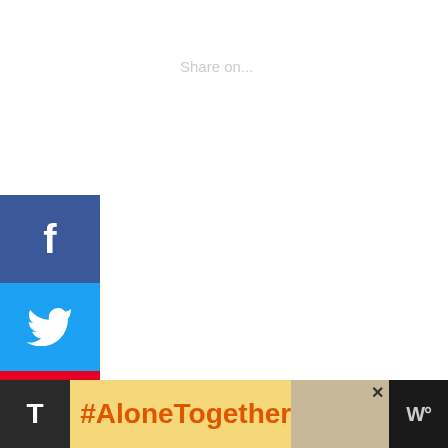[Figure (screenshot): Social media sharing sidebar with Facebook (blue, f icon), Twitter (blue, bird icon), Pinterest (red, P icon with count 18), Heart/like button (count 1), and Email (green, envelope icon). Also shows floating heart widget with count 19.]
addition, they not only keep dust and debris but also improve showcasing of your dishware which are kept on them.
18 SHARES
[Figure (screenshot): Advertisement banner at bottom. Left dark section with letter T, yellow section with #AloneTogether text in orange, photo of a person, close button, and right dark section with wavy W° logo.]